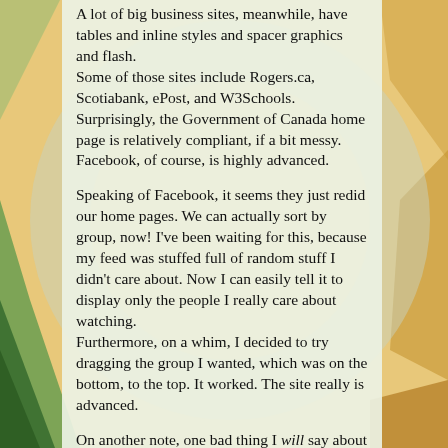A lot of big business sites, meanwhile, have tables and inline styles and spacer graphics and flash. Some of those sites include Rogers.ca, Scotiabank, ePost, and W3Schools. Surprisingly, the Government of Canada home page is relatively compliant, if a bit messy. Facebook, of course, is highly advanced.
Speaking of Facebook, it seems they just redid our home pages. We can actually sort by group, now! I've been waiting for this, because my feed was stuffed full of random stuff I didn't care about. Now I can easily tell it to display only the people I really care about watching. Furthermore, on a whim, I decided to try dragging the group I wanted, which was on the bottom, to the top. It worked. The site really is advanced.
On another note, one bad thing I will say about jQuery is that things which are drag-and-drop-able sometimes accidentally get their text highlighted when you drag your